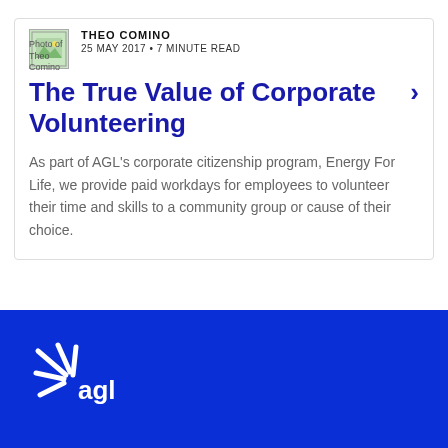[Figure (photo): Small thumbnail photo of Theo Comino with placeholder image icon]
THEO COMINO
25 MAY 2017 • 7 MINUTE READ
The True Value of Corporate Volunteering
As part of AGL's corporate citizenship program, Energy For Life, we provide paid workdays for employees to volunteer their time and skills to a community group or cause of their choice.
[Figure (logo): AGL logo in white on blue background — stylized sun/rays icon with 'agl' text]